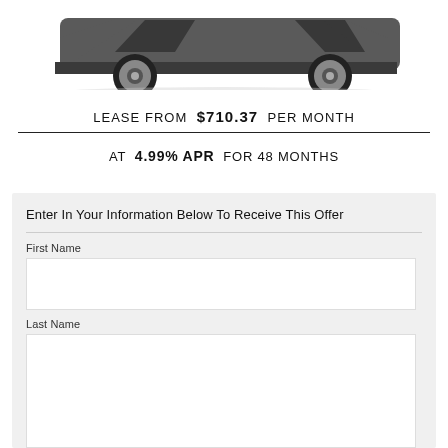[Figure (photo): Partial view of a dark grey luxury sedan (Cadillac CT6 or similar), showing the front-lower portion and wheels against a white background.]
LEASE FROM $710.37 PER MONTH
AT 4.99% APR FOR 48 MONTHS
Enter In Your Information Below To Receive This Offer
First Name
Last Name